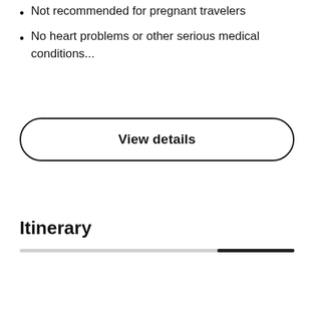Not recommended for pregnant travelers
No heart problems or other serious medical conditions...
View details
Itinerary